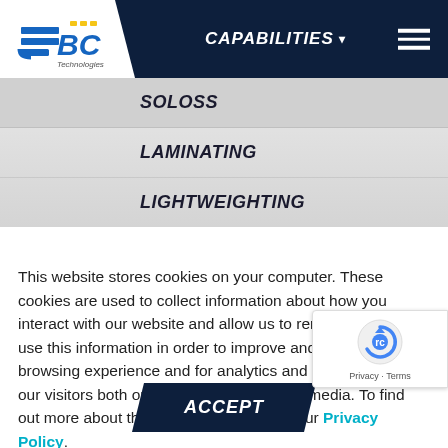[Figure (logo): JBC Technologies logo with blue and yellow styling]
CAPABILITIES
COLOSS
LAMINATING
LIGHTWEIGHTING
This website stores cookies on your computer. These cookies are used to collect information about how you interact with our website and allow us to remember you. We use this information in order to improve and customize your browsing experience and for analytics and metrics about our visitors both on this website and other media. To find out more about the cookies we use, see our Privacy Policy.
ACCEPT